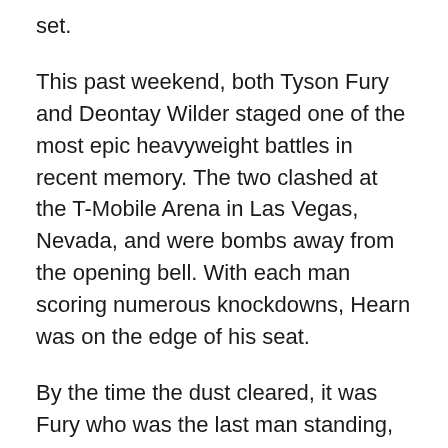set.
This past weekend, both Tyson Fury and Deontay Wilder staged one of the most epic heavyweight battles in recent memory. The two clashed at the T-Mobile Arena in Las Vegas, Nevada, and were bombs away from the opening bell. With each man scoring numerous knockdowns, Hearn was on the edge of his seat.
By the time the dust cleared, it was Fury who was the last man standing, scoring an 11th round stoppage win. Despite Wilder picking up his second straight knockout defeat at the hands of Fury, Hearn couldn't help but tip his cap to the hard-hitting former titlist.
“I think his credibility has gone through the roof,” said Hearn during an interview with IFL TV,